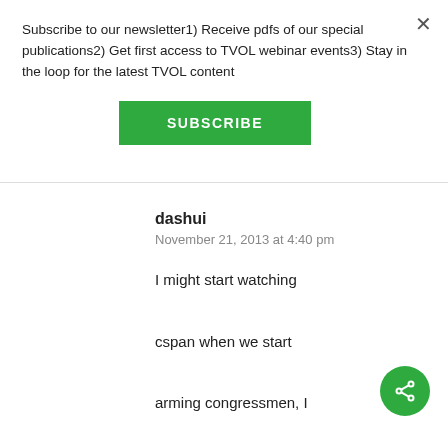Subscribe to our newsletter1) Receive pdfs of our special publications2) Get first access to TVOL webinar events3) Stay in the loop for the latest TVOL content
SUBSCRIBE
dashui
November 21, 2013 at 4:40 pm
I might start watching cspan when we start arming congressmen, I think giving them all a mace